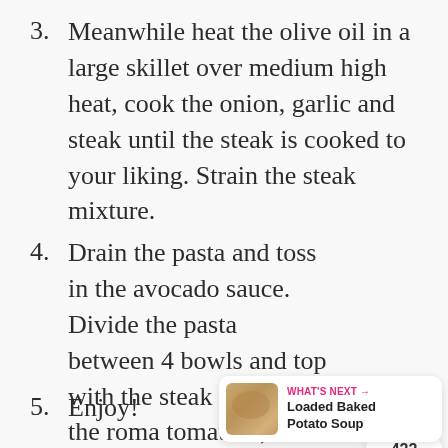3. Meanwhile heat the olive oil in a large skillet over medium high heat, cook the onion, garlic and steak until the steak is cooked to your liking. Strain the steak mixture.
4. Drain the pasta and toss in the avocado sauce. Divide the pasta between 4 bowls and top with the steak mixture, the roma tomatoes, and a little cilantro
5. Enjoy!
[Figure (infographic): Pink circular heart/like button with white heart icon, showing count 422 and a share icon below in a white card]
[Figure (infographic): What's Next promotional box showing a soup thumbnail image with text 'WHAT'S NEXT → Loaded Baked Potato Soup']